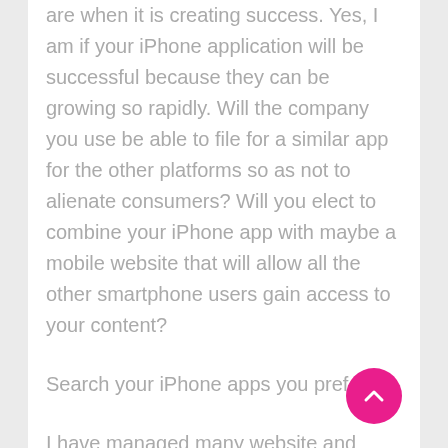are when it is creating success. Yes, I am if your iPhone application will be successful because they can be growing so rapidly. Will the company you use be able to file for a similar app for the other platforms so as not to alienate consumers? Will you elect to combine your iPhone app with maybe a mobile website that will allow all the other smartphone users gain access to your content?
Search your iPhone apps you prefer!
I have managed many website and iPhone application projects and another of the mistakes I regularly find is managers which might be too reliant for the designers. I suggest that inside your initial brief you actually look into all the various types of iPhone apps that happen to be within your market. If there aren't any iPhone apps then simply